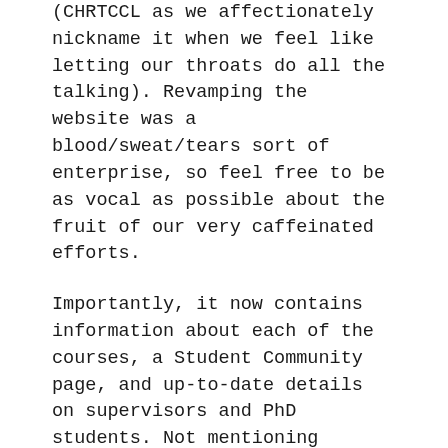(CHRTCCL as we affectionately nickname it when we feel like letting our throats do all the talking). Revamping the website was a blood/sweat/tears sort of enterprise, so feel free to be as vocal as possible about the fruit of our very caffeinated efforts.
Importantly, it now contains information about each of the courses, a Student Community page, and up-to-date details on supervisors and PhD students. Not mentioning inspirational and sometimes irreverent quotes from children's books. I would like to reiterate here that we are more than happy to answer any questions you may have about the course. Leave a comment on this blog or contact us via our Facebook Page...